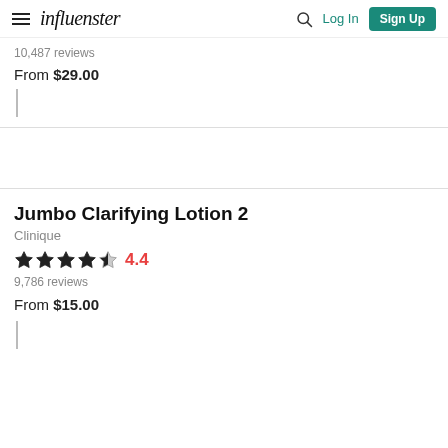influenster — Log In | Sign Up
10,487 reviews
From $29.00
Jumbo Clarifying Lotion 2
Clinique
4.4
9,786 reviews
From $15.00